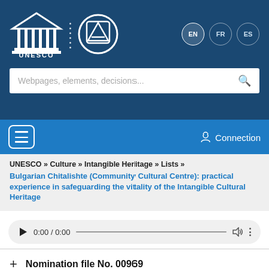[Figure (logo): UNESCO logo and ICH (Intangible Cultural Heritage) logo on dark blue header background, with EN, FR, ES language buttons]
[Figure (screenshot): Search bar with placeholder text 'Webpages, elements, decisions...' and search icon]
[Figure (screenshot): Blue navigation bar with hamburger menu icon and Connection label]
UNESCO » Culture » Intangible Heritage » Lists »
Bulgarian Chitalishte (Community Cultural Centre): practical experience in safeguarding the vitality of the Intangible Cultural Heritage
[Figure (other): Audio player widget showing 0:00 / 0:00 with play button, progress bar, volume icon, and more options icon]
+ Nomination file No. 00969
+ Decision